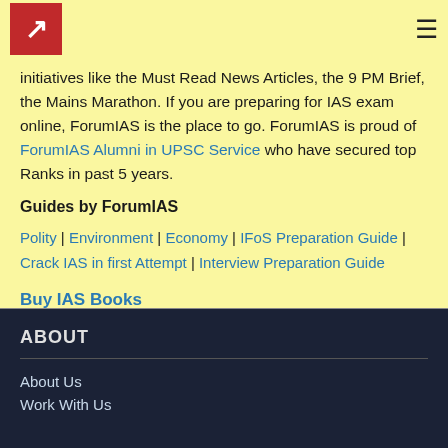ForumIAS logo and navigation menu
initiatives like the Must Read News Articles, the 9 PM Brief, the Mains Marathon. If you are preparing for IAS exam online, ForumIAS is the place to go. ForumIAS is proud of ForumIAS Alumni in UPSC Service who have secured top Ranks in past 5 years.
Guides by ForumIAS
Polity | Environment | Economy | IFoS Preparation Guide | Crack IAS in first Attempt | Interview Preparation Guide
Buy IAS Books
ABOUT
About Us
Work With Us